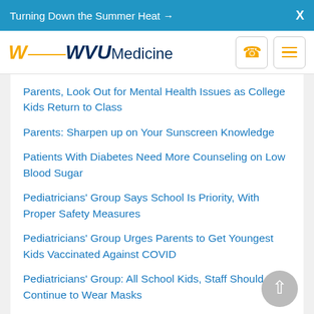Turning Down the Summer Heat →  X
[Figure (logo): WVU Medicine logo with flying WV in gold and navy, phone icon button and hamburger menu button]
Parents, Look Out for Mental Health Issues as College Kids Return to Class
Parents: Sharpen up on Your Sunscreen Knowledge
Patients With Diabetes Need More Counseling on Low Blood Sugar
Pediatricians' Group Says School Is Priority, With Proper Safety Measures
Pediatricians' Group Urges Parents to Get Youngest Kids Vaccinated Against COVID
Pediatricians' Group: All School Kids, Staff Should Continue to Wear Masks
Pediatricians Offer Advice on Keeping Trick-or-Treaters Safe
Pentagon Says Troops Must Start Lining Up Now for COVID Shots